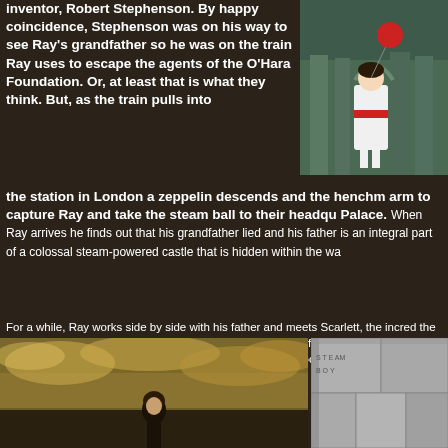inventor, Robert Stephenson. By happy coincidence, Stephenson was on his way to see Ray's grandfather so he was on the train Ray uses to escape the agents of the O'Hara Foundation. Or, at least that is what they think. But, as the train pulls into the station in London a zeppelin descends and the henchm arm to capture Ray and take the steam ball to their headqu Palace. When Ray arrives he finds out that his grandfather lied and his father is an integral part of a colossal steam-powered castle that is hidden within the wa
[Figure (illustration): Animated scene showing a girl in white dress with red sash holding a red balloon, standing near ornate gates or architecture]
For a while, Ray works side by side with his father and meets Scarlett, the incred the O'Hara Foundation's found. Unbeknownst to Ray, his grandfather is being he castle, but he manages to escape. Ray finds him attempting to sabotage the stea its true and nefarious purpose. Ray has to decide where his loyalties lie and whe another cog in his father's machine.
[Figure (illustration): Anime-style illustration of a young boy character against a dramatic sky with clouds]
[Figure (photo): Black and white photograph showing what appears to be a large stone or concrete structure]